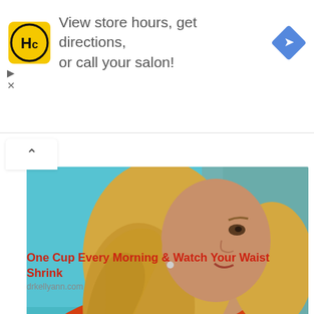[Figure (advertisement): HC salon ad banner: yellow square logo with HC text, ad copy 'View store hours, get directions, or call your salon!', blue diamond navigation icon on right, play and close controls on left]
[Figure (photo): Photo of a blonde woman in a red top on a teal/blue background, shown from shoulders up, looking to the side, with a microphone clip visible]
One Cup Every Morning & Watch Your Waist Shrink
drkellyann.com